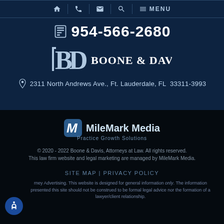Navigation bar with home, phone, email, search, and menu icons
954-566-2680
[Figure (logo): Boone & Davis law firm logo with BD monogram]
2311 North Andrews Ave., Ft. Lauderdale, FL 33311-3993
[Figure (logo): MileMark Media - Practice Growth Solutions logo]
© 2020 - 2022 Boone & Davis, Attorneys at Law. All rights reserved. This law firm website and legal marketing are managed by MileMark Media.
SITE MAP | PRIVACY POLICY
rney Advertising. This website is designed for general information only. The information presented this site should not be construed to be formal legal advice nor the formation of a lawyer/client relationship.